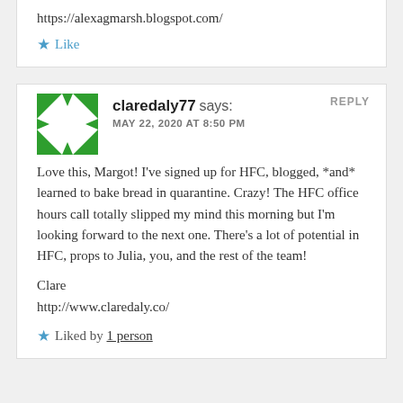https://alexagmarsh.blogspot.com/
★ Like
REPLY
[Figure (logo): Green geometric square avatar with triangular corner pieces forming a frame pattern]
claredaly77 says:
MAY 22, 2020 AT 8:50 PM
Love this, Margot! I've signed up for HFC, blogged, *and* learned to bake bread in quarantine. Crazy! The HFC office hours call totally slipped my mind this morning but I'm looking forward to the next one. There's a lot of potential in HFC, props to Julia, you, and the rest of the team!
Clare
http://www.claredaly.co/
★ Liked by 1 person